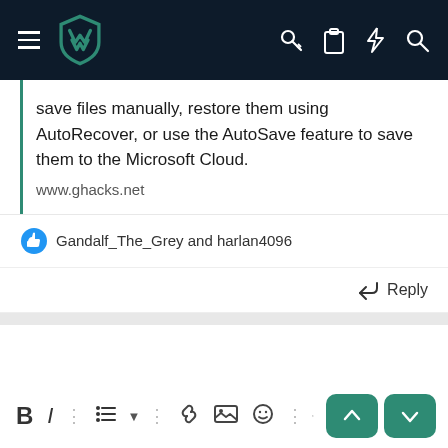[Figure (screenshot): Mobile app navigation bar with hamburger menu, teal shield logo, and icons for key, clipboard, lightning, and search on dark background]
save files manually, restore them using AutoRecover, or use the AutoSave feature to save them to the Microsoft Cloud.
www.ghacks.net
Gandalf_The_Grey and harlan4096
Reply
[Figure (screenshot): Text reply editor toolbar with Bold, Italic, separator, list, separator, link, image, emoji, separator, undo, and two teal action buttons with up and down arrows]